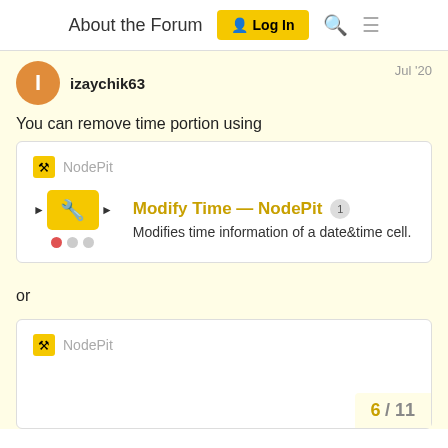About the Forum  Log In
izaychik63  Jul '20
You can remove time portion using
[Figure (screenshot): NodePit link card showing 'Modify Time — NodePit' with badge 1, node icon with arrows, red and gray dots, and description: Modifies time information of a date&time cell.]
or
[Figure (screenshot): Partial NodePit link card at bottom of page, showing NodePit icon and name, with page counter 6 / 11 in bottom right.]